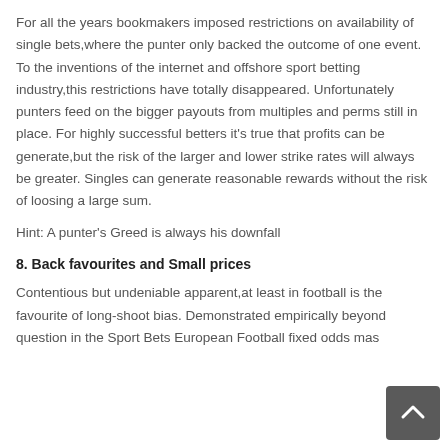For all the years bookmakers imposed restrictions on availability of single bets,where the punter only backed the outcome of one event. To the inventions of the internet and offshore sport betting industry,this restrictions have totally disappeared. Unfortunately punters feed on the bigger payouts from multiples and perms still in place. For highly successful betters it's true that profits can be generate,but the risk of the larger and lower strike rates will always be greater. Singles can generate reasonable rewards without the risk of loosing a large sum.
Hint: A punter's Greed is always his downfall
8. Back favourites and Small prices
Contentious but undeniable apparent,at least in football is the favourite of long-shoot bias. Demonstrated empirically beyond question in the Sport Bets European Football fixed odds markets